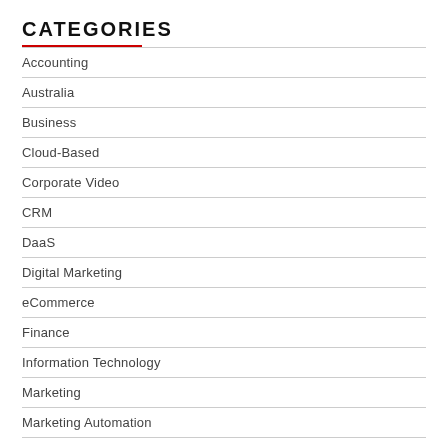CATEGORIES
Accounting
Australia
Business
Cloud-Based
Corporate Video
CRM
DaaS
Digital Marketing
eCommerce
Finance
Information Technology
Marketing
Marketing Automation